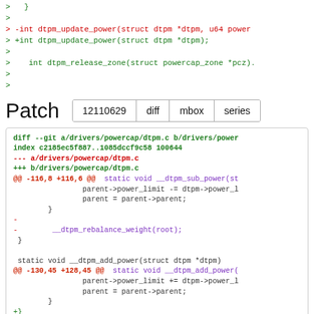>   }
>
> -int dtpm_update_power(struct dtpm *dtpm, u64 power
> +int dtpm_update_power(struct dtpm *dtpm);
>
>     int dtpm_release_zone(struct powercap_zone *pcz)
>
>
Patch
12110629  diff  mbox  series
diff --git a/drivers/powercap/dtpm.c b/drivers/power
index c2185ec5f887..1085dccf9c58 100644
--- a/drivers/powercap/dtpm.c
+++ b/drivers/powercap/dtpm.c
@@ -116,8 +116,6 @@  static void __dtpm_sub_power(st
                parent->power_limit -= dtpm->power_l
                parent = parent->parent;
        }
-
-        __dtpm_rebalance_weight(root);
 }

 static void __dtpm_add_power(struct dtpm *dtpm)
@@ -130,45 +128,45 @@  static void __dtpm_add_power(
                parent->power_limit += dtpm->power_l
                parent = parent->parent;
        }
+}